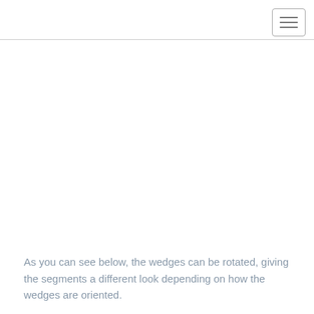[Figure (other): Blank white content area placeholder for a chart or diagram showing rotated wedge/segment visualization]
As you can see below, the wedges can be rotated, giving the segments a different look depending on how the wedges are oriented.